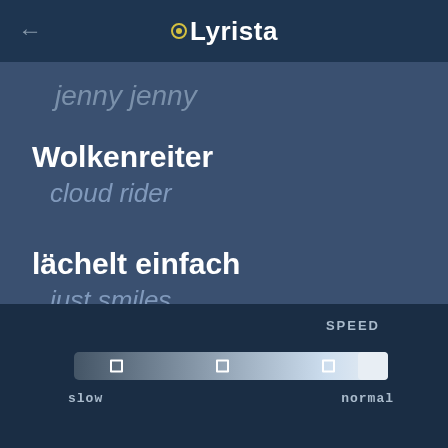← •Lyrista
jenny jenny
Wolkenreiter
cloud rider
lächelt einfach
just smiles
[Figure (screenshot): Speed slider control with slow to normal range and three tick marks]